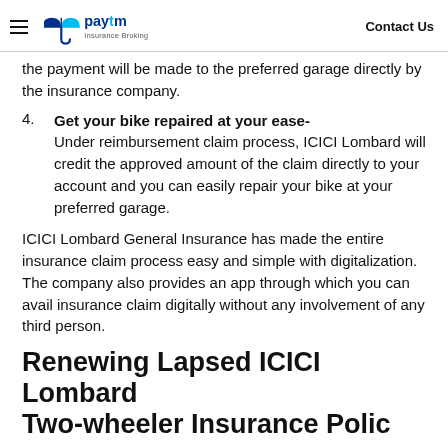Paytm Insurance Broking | Contact Us
the payment will be made to the preferred garage directly by the insurance company.
4. Get your bike repaired at your ease- Under reimbursement claim process, ICICI Lombard will credit the approved amount of the claim directly to your account and you can easily repair your bike at your preferred garage.
ICICI Lombard General Insurance has made the entire insurance claim process easy and simple with digitalization. The company also provides an app through which you can avail insurance claim digitally without any involvement of any third person.
Renewing Lapsed ICICI Lombard Two-wheeler Insurance Policy